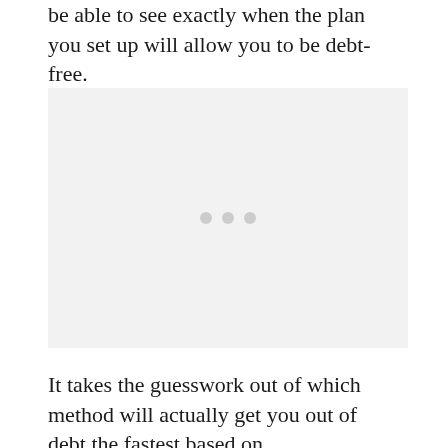be able to see exactly when the plan you set up will allow you to be debt-free.
[Figure (other): Placeholder image area with three grey dots in the center indicating a loading or placeholder state]
It takes the guesswork out of which method will actually get you out of debt the fastest based on